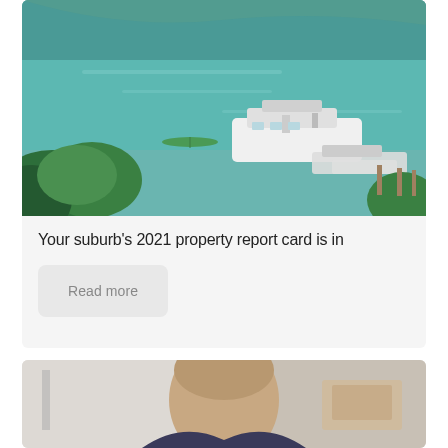[Figure (photo): Aerial view of a harbour with boats on teal-green water, with trees and yachts visible including a large white motor yacht.]
Your suburb's 2021 property report card is in
Read more
[Figure (photo): Partial view of a person (head and shoulders, bald) in an interior setting with light walls and furniture visible.]